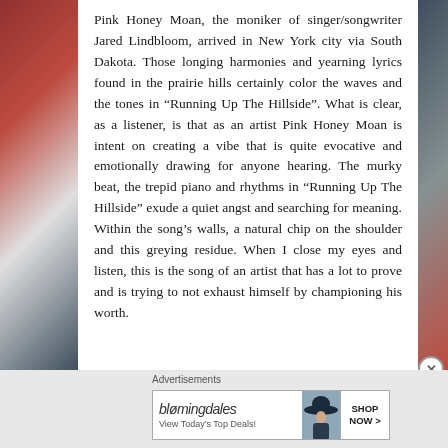Pink Honey Moan, the moniker of singer/songwriter Jared Lindbloom, arrived in New York city via South Dakota. Those longing harmonies and yearning lyrics found in the prairie hills certainly color the waves and the tones in “Running Up The Hillside”. What is clear, as a listener, is that as an artist Pink Honey Moan is intent on creating a vibe that is quite evocative and emotionally drawing for anyone hearing. The murky beat, the trepid piano and rhythms in “Running Up The Hillside” exude a quiet angst and searching for meaning. Within the song’s walls, a natural chip on the shoulder and this greying residue. When I close my eyes and listen, this is the song of an artist that has a lot to prove and is trying to not exhaust himself by championing his worth.
Advertisements
[Figure (illustration): Bloomingdales advertisement banner with logo, tagline 'View Today's Top Deals!', a woman wearing a wide-brim hat, and a 'SHOP NOW >' call-to-action button.]